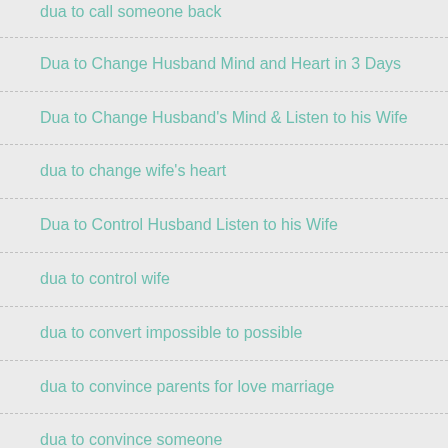dua to call someone back
Dua to Change Husband Mind and Heart in 3 Days
Dua to Change Husband's Mind & Listen to his Wife
dua to change wife's heart
Dua to Control Husband Listen to his Wife
dua to control wife
dua to convert impossible to possible
dua to convince parents for love marriage
dua to convince someone
Dua to Fix a Broken Relationship